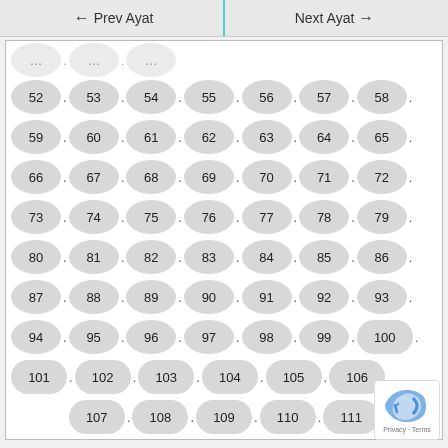← Prev Ayat | Next Ayat →
[Figure (other): Grid of numbered oval/pill buttons from 52 to 111, arranged in rows with dot separators]
Back to full Surah